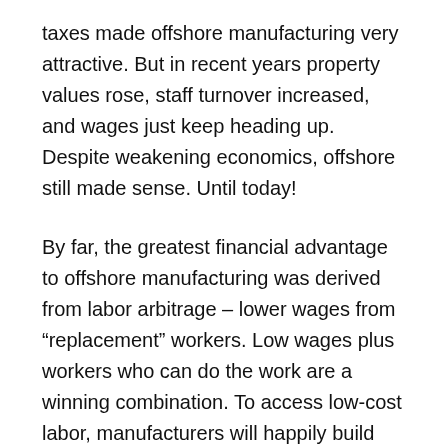taxes made offshore manufacturing very attractive. But in recent years property values rose, staff turnover increased, and wages just keep heading up. Despite weakening economics, offshore still made sense. Until today!
By far, the greatest financial advantage to offshore manufacturing was derived from labor arbitrage – lower wages from “replacement” workers. Low wages plus workers who can do the work are a winning combination. To access low-cost labor, manufacturers will happily build the factories, roads, and infrastructure needed for manufacturing. China has been the gold standard for outsourcing, but western manufacturers are being lured by still lower wages in Vietnam or Thailand. Now, technology has taken a big leap forward, and suddenly… wages don’t matter!